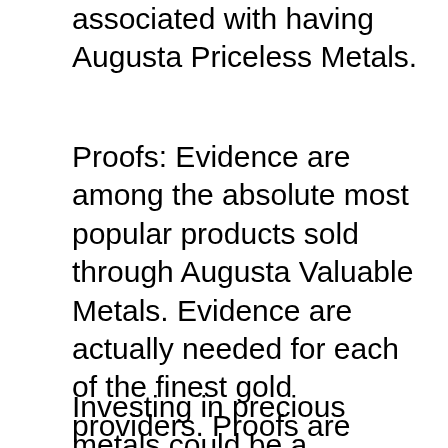associated with having Augusta Priceless Metals.
Proofs: Evidence are among the absolute most popular products sold through Augusta Valuable Metals. Evidence are actually needed for each of the finest gold providers. Proofs are actually likewise made use of for confirming platinum eagle and also palladium to merchants, and to shoppers that buy from online retail stores. There are no yearly expenses associated with owning Augusta Precious Metals, and there is actually an easy audit device required for each one of your purchases.
Investing in precious metals could be a straightforward method, or even it could be